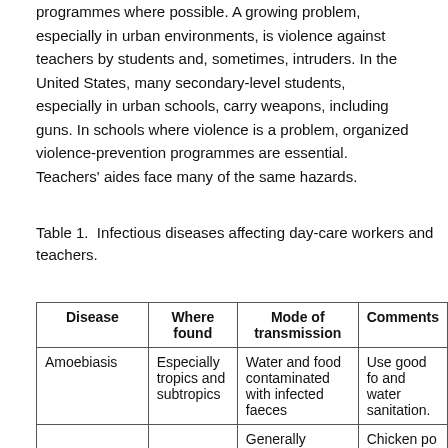programmes where possible. A growing problem, especially in urban environments, is violence against teachers by students and, sometimes, intruders. In the United States, many secondary-level students, especially in urban schools, carry weapons, including guns. In schools where violence is a problem, organized violence-prevention programmes are essential. Teachers' aides face many of the same hazards.
Table 1.  Infectious diseases affecting day-care workers and teachers.
| Disease | Where found | Mode of transmission | Comments |
| --- | --- | --- | --- |
| Amoebiasis | Especially tropics and subtropics | Water and food contaminated with infected faeces | Use good fo and water sanitation. |
|  |  | Generally | Chicken po |